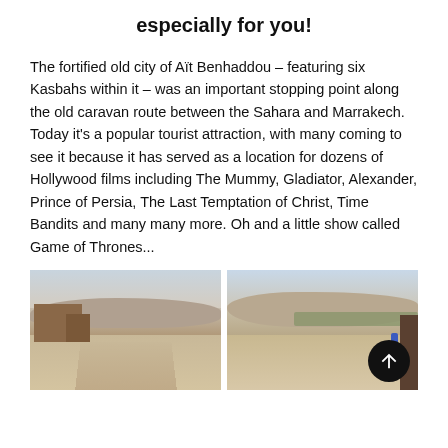especially for you!
The fortified old city of Aït Benhaddou – featuring six Kasbahs within it – was an important stopping point along the old caravan route between the Sahara and Marrakech. Today it's a popular tourist attraction, with many coming to see it because it has served as a location for dozens of Hollywood films including The Mummy, Gladiator, Alexander, Prince of Persia, The Last Temptation of Christ, Time Bandits and many many more. Oh and a little show called Game of Thrones...
[Figure (photo): Two side-by-side landscape photos of Aït Benhaddou desert area: left shows adobe buildings and a dirt road under a hazy sky; right shows a wide desert valley with sparse vegetation and a figure in blue on the right side.]